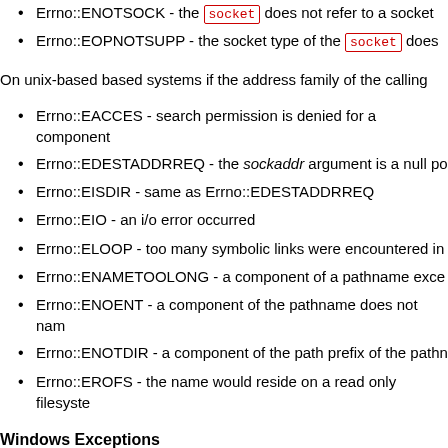Errno::ENOTSOCK - the socket does not refer to a socket
Errno::EOPNOTSUPP - the socket type of the socket does
On unix-based based systems if the address family of the calling
Errno::EACCES - search permission is denied for a component
Errno::EDESTADDRREQ - the sockaddr argument is a null po
Errno::EISDIR - same as Errno::EDESTADDRREQ
Errno::EIO - an i/o error occurred
Errno::ELOOP - too many symbolic links were encountered in
Errno::ENAMETOOLONG - a component of a pathname exce
Errno::ENOENT - a component of the pathname does not nam
Errno::ENOTDIR - a component of the path prefix of the pathn
Errno::EROFS - the name would reside on a read only filesyste
Windows Exceptions
On Windows systems the following system exceptions may be rai
Errno::ENETDOWN– the network is down
Errno::EACCES - the attempt to connect the datagram socket